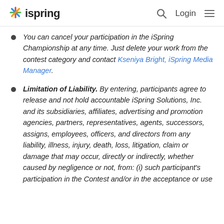ispring  Login
You can cancel your participation in the iSpring Championship at any time. Just delete your work from the contest category and contact Kseniya Bright, iSpring Media Manager.
Limitation of Liability. By entering, participants agree to release and not hold accountable iSpring Solutions, Inc. and its subsidiaries, affiliates, advertising and promotion agencies, partners, representatives, agents, successors, assigns, employees, officers, and directors from any liability, illness, injury, death, loss, litigation, claim or damage that may occur, directly or indirectly, whether caused by negligence or not, from: (i) such participant's participation in the Contest and/or in the acceptance or use...